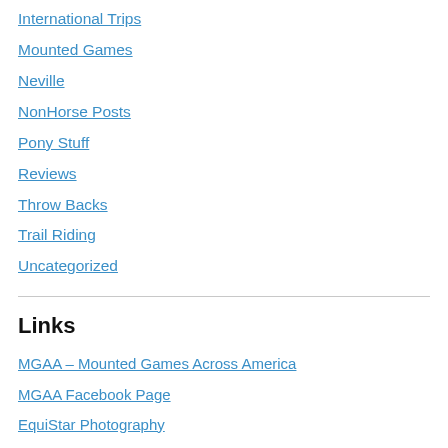International Trips
Mounted Games
Neville
NonHorse Posts
Pony Stuff
Reviews
Throw Backs
Trail Riding
Uncategorized
Links
MGAA – Mounted Games Across America
MGAA Facebook Page
EquiStar Photography
Blue Ridge Pony's Recent Posts